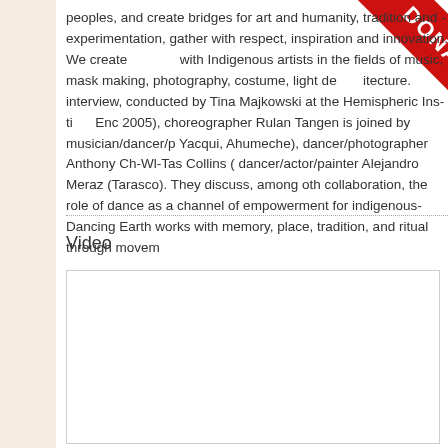peoples, and create bridges for art and humanity, tradition and experimentation, gather with respect, inspiration and innovation. We create with Indigenous artists in the fields of music, mask making, photography, costume, light design, and architecture. This interview, conducted by Tina Majkowski at the Hemispheric Institute (Encuentros 2005), choreographer Rulan Tangen is joined by musician/dancer/poet Patricio Yaqui, Ahumeche), dancer/photographer Anthony Ch-Wl-Tas Collins ( and dancer/actor/painter Alejandro Meraz (Tarasco). They discuss, among other topics: collaboration, the role of dance as a channel of empowerment for indigenous peoples, Dancing Earth works with memory, place, tradition, and ritual through movement.
Video
[Figure (other): Embedded video player area (blank white box with border)]